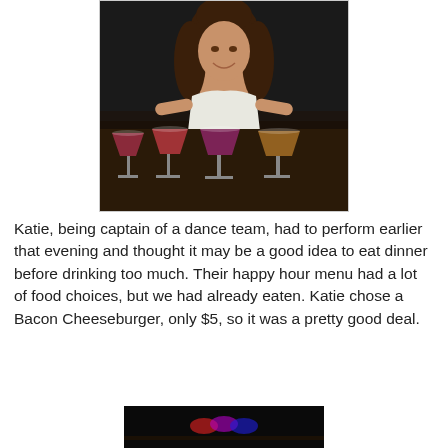[Figure (photo): Young woman smiling behind a table with four martini glasses filled with pink and amber cocktails, in a dark restaurant setting.]
Katie, being captain of a dance team, had to perform earlier that evening and thought it may be a good idea to eat dinner before drinking too much. Their happy hour menu had a lot of food choices, but we had already eaten. Katie chose a Bacon Cheeseburger, only $5, so it was a pretty good deal.
[Figure (photo): Dark bar interior with colored lights visible in the background.]